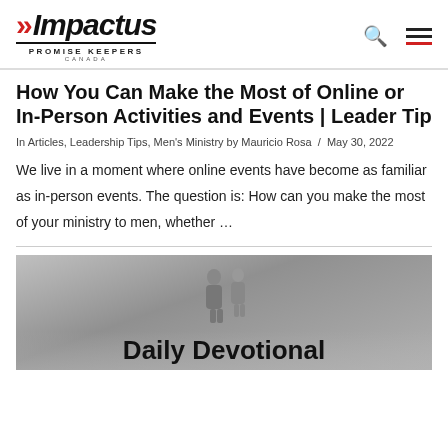Impactus Promise Keepers Canada
How You Can Make the Most of Online or In-Person Activities and Events | Leader Tip
In Articles, Leadership Tips, Men's Ministry by Mauricio Rosa / May 30, 2022
We live in a moment where online events have become as familiar as in-person events. The question is: How can you make the most of your ministry to men, whether …
[Figure (photo): Grayscale image of two people in a foggy setting, with bold text 'Daily Devotional' overlaid at the bottom]